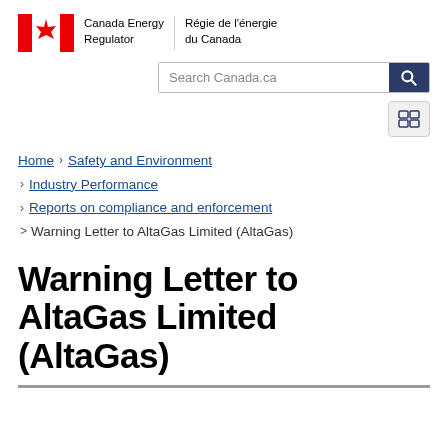Canada Energy Regulator / Régie de l'énergie du Canada
[Figure (logo): Canada wordmark with red maple leaf flag and Canada Energy Regulator / Régie de l'énergie du Canada text]
[Figure (screenshot): Search Canada.ca search bar with dark blue search button]
[Figure (screenshot): Menu toggle button with grid icon]
Home > Safety and Environment > Industry Performance > Reports on compliance and enforcement > Warning Letter to AltaGas Limited (AltaGas)
Warning Letter to AltaGas Limited (AltaGas)